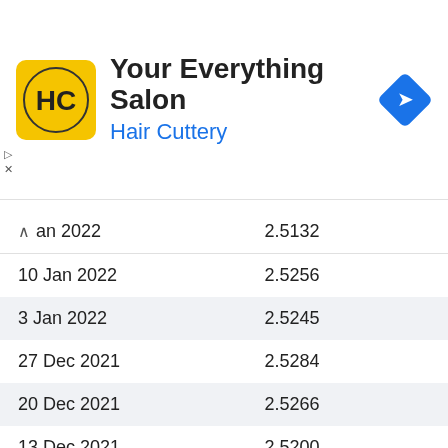[Figure (advertisement): Hair Cuttery 'Your Everything Salon' advertisement banner with yellow HC logo and blue navigation icon]
| Date | Value |
| --- | --- |
| Jan 2022 | 2.5132 |
| 10 Jan 2022 | 2.5256 |
| 3 Jan 2022 | 2.5245 |
| 27 Dec 2021 | 2.5284 |
| 20 Dec 2021 | 2.5266 |
| 13 Dec 2021 | 2.5200 |
| 6 Dec 2021 | 2.5071 |
| 29 Nov 2021 | 2.5203 |
| 22 Nov 2021 | 2.5124 |
| 15 Nov 2021 | 2.4873 |
| 8 Nov 2021 | 2.4677 |